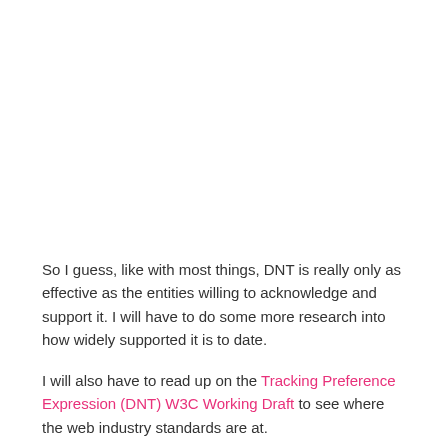So I guess, like with most things, DNT is really only as effective as the entities willing to acknowledge and support it. I will have to do some more research into how widely supported it is to date.
I will also have to read up on the Tracking Preference Expression (DNT) W3C Working Draft to see where the web industry standards are at.